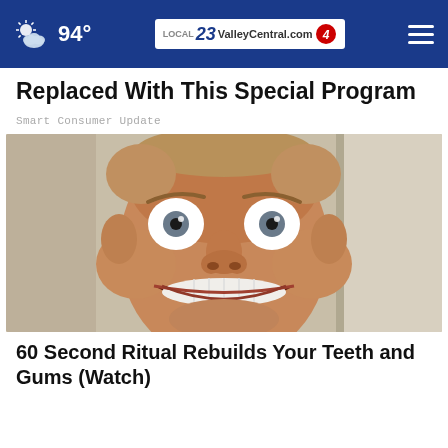94° — ValleyCentral.com 23/4 — navigation menu
Replaced With This Special Program
Smart Consumer Update
[Figure (photo): Close-up photo of a man grinning widely with wide eyes, showing his teeth, taken in a bathroom setting]
60 Second Ritual Rebuilds Your Teeth and Gums (Watch)